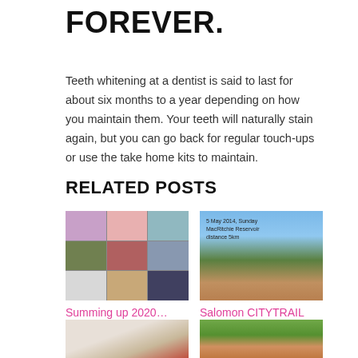FOREVER.
Teeth whitening at a dentist is said to last for about six months to a year depending on how you maintain them. Your teeth will naturally stain again, but you can go back for regular touch-ups or use the take home kits to maintain.
RELATED POSTS
[Figure (photo): Collage of lifestyle photos showing people in various outfits and activities]
Summing up 2020…
[Figure (photo): Outdoor road scene with trees and text overlay reading '5 May 2014, Sunday MacRitchie Reservoir distance 5km']
Salomon CITYTRAIL 2014
[Figure (photo): Building with arched windows, red and white facade]
[Figure (photo): Person visible through car window, greenery background]